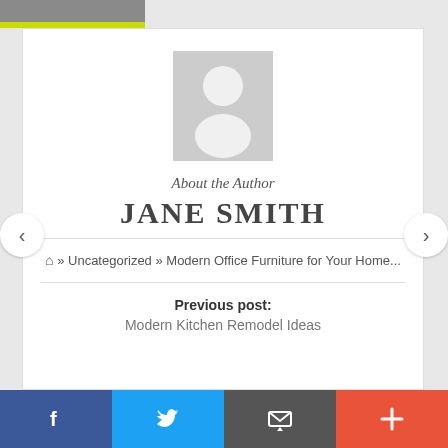[Figure (photo): Top image strip showing partial photo with green bar]
[Figure (illustration): Gray placeholder avatar silhouette in a square frame]
About the Author
JANE SMITH
⌂ » Uncategorized » Modern Office Furniture for Your Home...
Previous post:
Modern Kitchen Remodel Ideas
[Figure (infographic): Social share bar with Facebook, Twitter, Email, and Plus buttons]